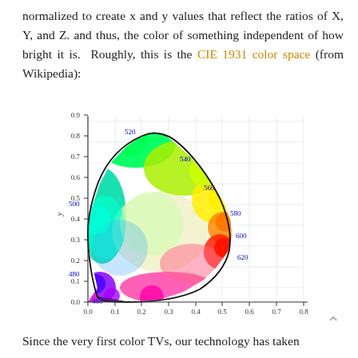normalized to create x and y values that reflect the ratios of X, Y, and Z. and thus, the color of something independent of how bright it is.  Roughly, this is the CIE 1931 color space (from Wikipedia):
[Figure (continuous-plot): CIE 1931 chromaticity diagram showing the horseshoe-shaped spectral locus with wavelength labels (460, 480, 500, 520, 540, 560, 580, 600, 620 nm) in blue, filled with a rainbow-like gradient of visible colors, plotted on x (0.0 to 0.8) and y (0.0 to 0.9) axes with gridlines.]
Since the very first color TVs, our technology has taken